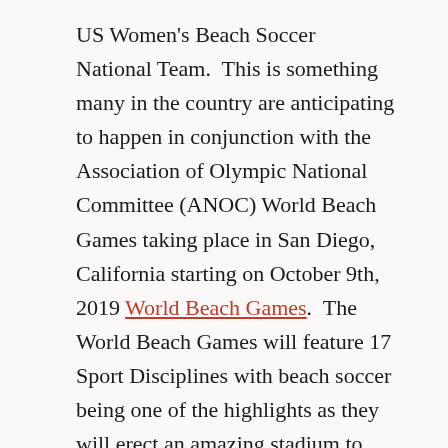US Women's Beach Soccer National Team.  This is something many in the country are anticipating to happen in conjunction with the Association of Olympic National Committee (ANOC) World Beach Games taking place in San Diego, California starting on October 9th, 2019 World Beach Games.  The World Beach Games will feature 17 Sport Disciplines with beach soccer being one of the highlights as they will erect an amazing stadium to house the competition.
But, almost as exciting is the announcement by Beach Soccer World Wide about their new competition to feature as a sort of Confederations Cup-style event as part of our favorite Oceanside, Beach Soccer Championships National Qualifier. The Be So Champ...